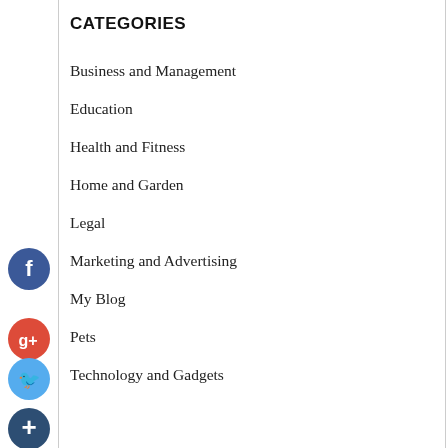CATEGORIES
Business and Management
Education
Health and Fitness
Home and Garden
Legal
Marketing and Advertising
My Blog
Pets
Technology and Gadgets